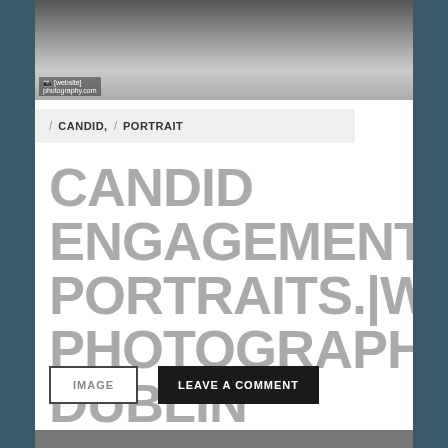[Figure (photo): Black and white portrait photo of a person with windswept hair, partially cropped at top]
/ CANDID, / PORTRAIT
CANDID ENGAGEMENT PORTRAITS.|WEDDING PHOTOGRAPHY DUBLIN
IMAGE
LEAVE A COMMENT